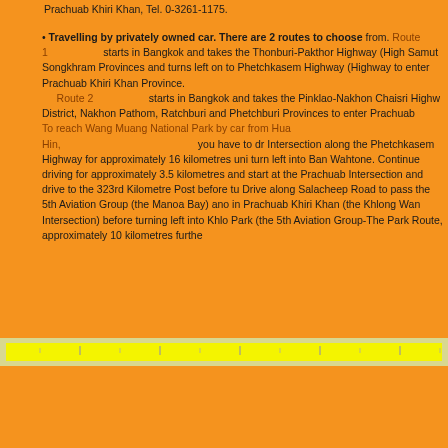Prachuab Khiri Khan, Tel. 0-3261-1175.
• Travelling by privately owned car. There are 2 routes to choose from. Route 1 starts in Bangkok and takes the Thonburi-Pakthor Highway (Highway 35) through Samut Songkhram Provinces and turns left on to Phetchkasem Highway (Highway 4) to enter Prachuab Khiri Khan Province. Route 2 starts in Bangkok and takes the Pinklao-Nakhon Chaisri Highway through Bang Yai District, Nakhon Pathom, Ratchburi and Phetchburi Provinces to enter Prachuab Khiri Khan Province. To reach Wang Muang National Park by car from Hua Hin you have to drive past the Hua Hin-Bang Saphan Intersection along the Phetchkasem Highway for approximately 16 kilometres until arriving at Huai Sai Nua Intersection, then turn left into Ban Wahtone. Continue driving for approximately 3.5 kilometres and turn left. You may start at the Prachuab Intersection and drive to the 323rd Kilometre Post before turning right. Drive along Salacheep Road to pass the 5th Aviation Group (the Manoa Bay) and enter the second town in Prachuab Khiri Khan (the Khlong Wan Intersection) before turning left into Khlong Wan Road to reach the Park (the 5th Aviation Group-The Park Route, approximately 10 kilometres further.
[Figure (other): Navigation bar with yellow/cream background and small tick marks]